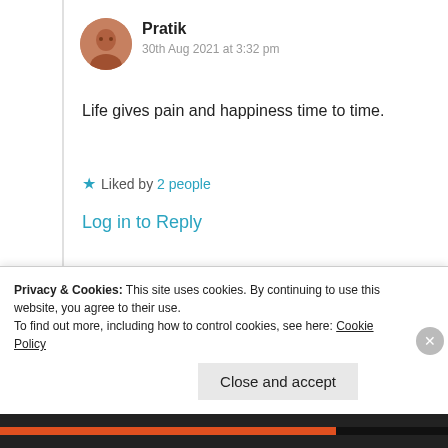Pratik
30th Aug 2021 at 3:32 pm
Life gives pain and happiness time to time.
Liked by 2 people
Log in to Reply
Suma Reddy
Privacy & Cookies: This site uses cookies. By continuing to use this website, you agree to their use.
To find out more, including how to control cookies, see here: Cookie Policy
Close and accept